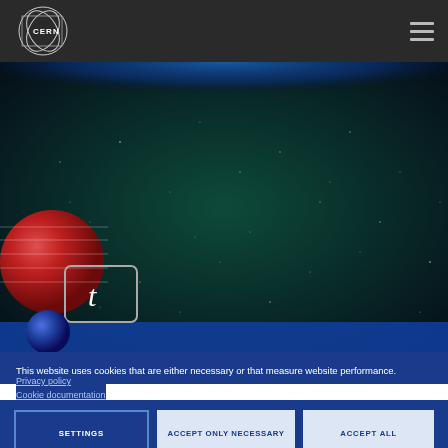[Figure (logo): CERN logo - circular orbit lines with CERN text, white on dark background]
[Figure (photo): Hero image showing a starfield/space background (dark teal/green) with a red spherical particle and a blue particle at lower left, with a label box containing italic letter t, and a blue banner at the bottom]
This website uses cookies that are either necessary or that measure website performance.
Privacy policy
Cookie documentation
SETTINGS
ACCEPT ONLY NECESSARY
ACCEPT ALL